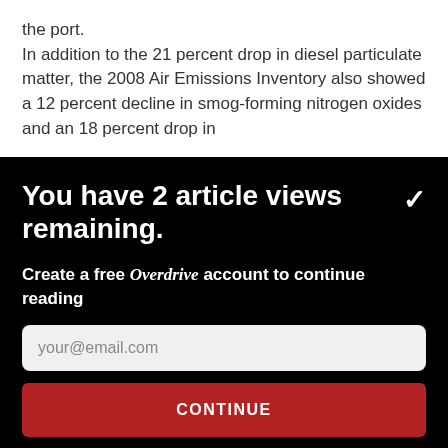the port.

In addition to the 21 percent drop in diesel particulate matter, the 2008 Air Emissions Inventory also showed a 12 percent decline in smog-forming nitrogen oxides and an 18 percent drop in
You have 2 article views remaining.
Create a free Overdrive account to continue reading
your@email.com
CONTINUE